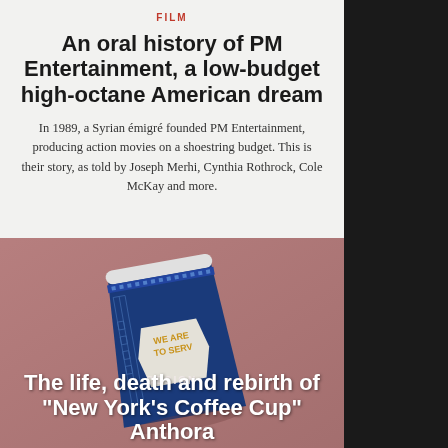FILM
An oral history of PM Entertainment, a low-budget high-octane American dream
In 1989, a Syrian émigré founded PM Entertainment, producing action movies on a shoestring budget. This is their story, as told by Joseph Merhi, Cynthia Rothrock, Cole McKay and more.
[Figure (photo): Blue and white coffee cup with Greek key pattern border and text 'WE ARE TO SERVE' on a pink-mauve background]
DESIGN
The life, death and rebirth of "New York's Coffee Cup" Anthora